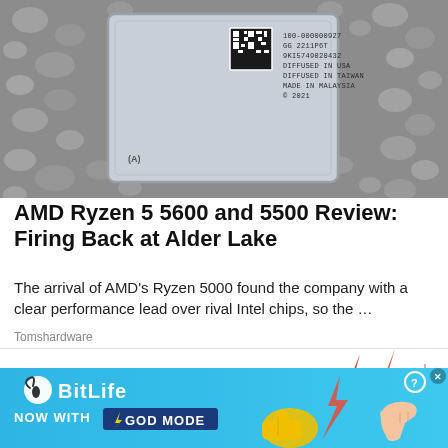[Figure (photo): Close-up photo of an AMD CPU processor chip sitting on a bed of pebbles/gravel. The chip shows a QR code and text label including '100-000000927', 'GG 2211P6T', '9KI5749020432', 'DIFFUSED IN USA', 'DIFFUSED IN TAIWAN', 'MADE IN MALAYSIA', and AMD logo.]
AMD Ryzen 5 5600 and 5500 Review: Firing Back at Alder Lake
The arrival of AMD's Ryzen 5000 found the company with a clear performance lead over rival Intel chips, so the …
Tomshardware
[Figure (illustration): Partial illustration of lightning bolts (red/dark red) on white background, part of a game advertisement.]
[Figure (illustration): BitLife advertisement banner with blue background. Shows BitLife logo with circle icon, text 'NOW WITH GOD MODE' in dark blue box, yellow thumbs-up hand graphic, lightning bolt, and a hand with question mark and close button.]